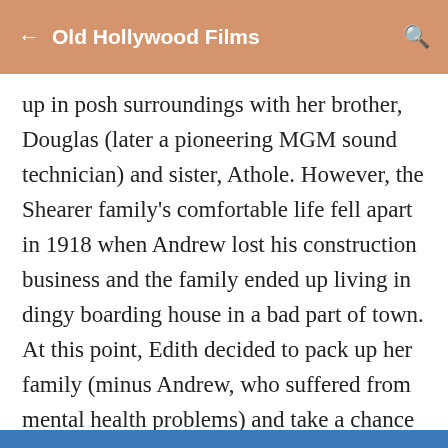Old Hollywood Films
up in posh surroundings with her brother, Douglas (later a pioneering MGM sound technician) and sister, Athole. However, the Shearer family's comfortable life fell apart in 1918 when Andrew lost his construction business and the family ended up living in dingy boarding house in a bad part of town. At this point, Edith decided to pack up her family (minus Andrew, who suffered from mental health problems) and take a chance on Norma's budding show-business aspirations.